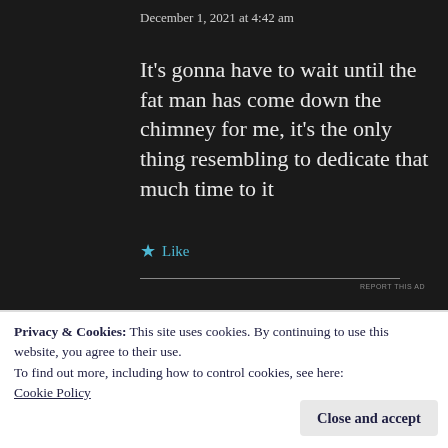December 1, 2021 at 4:42 am
It's gonna have to wait until the fat man has come down the chimney for me, it's the only thing resembling to dedicate that much time to it
★ Like
REPORT THIS AD
Privacy & Cookies: This site uses cookies. By continuing to use this website, you agree to their use.
To find out more, including how to control cookies, see here:
Cookie Policy
Close and accept